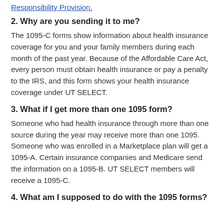Responsibility Provision.
2. Why are you sending it to me?
The 1095-C forms show information about health insurance coverage for you and your family members during each month of the past year. Because of the Affordable Care Act, every person must obtain health insurance or pay a penalty to the IRS, and this form shows your health insurance coverage under UT SELECT.
3. What if I get more than one 1095 form?
Someone who had health insurance through more than one source during the year may receive more than one 1095. Someone who was enrolled in a Marketplace plan will get a 1095-A. Certain insurance companies and Medicare send the information on a 1095-B. UT SELECT members will receive a 1095-C.
4. What am I supposed to do with the 1095 forms?